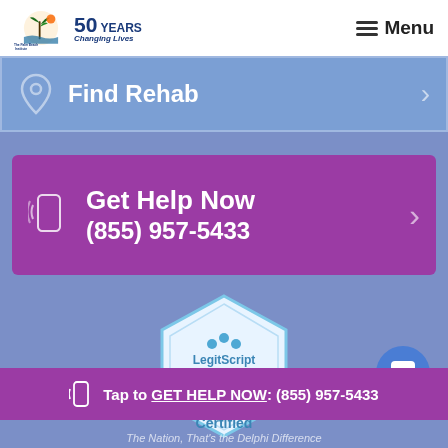The Palm Beach Institute — 50 Years Changing Lives | Menu
Find Rehab
Get Help Now
(855) 957-5433
[Figure (logo): LegitScript certification badge for PBINSTITUTE.COM, certified 08/21/22]
Tap to GET HELP NOW: (855) 957-5433
The Nation, That's the Delphi Difference